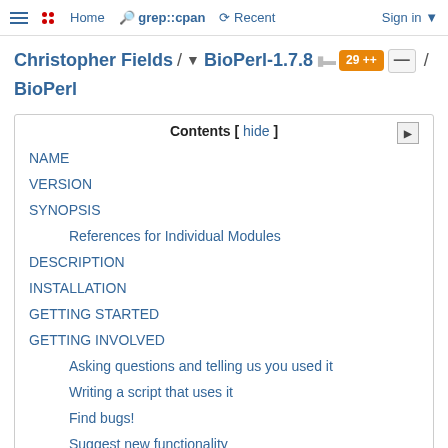≡ •• Home  grep::cpan  ↺ Recent  Sign in ▾
Christopher Fields / ▾ BioPerl-1.7.8 █▌ 29 ++ — / BioPerl
Contents [ hide ]
NAME
VERSION
SYNOPSIS
References for Individual Modules
DESCRIPTION
INSTALLATION
GETTING STARTED
GETTING INVOLVED
Asking questions and telling us you used it
Writing a script that uses it
Find bugs!
Suggest new functionality